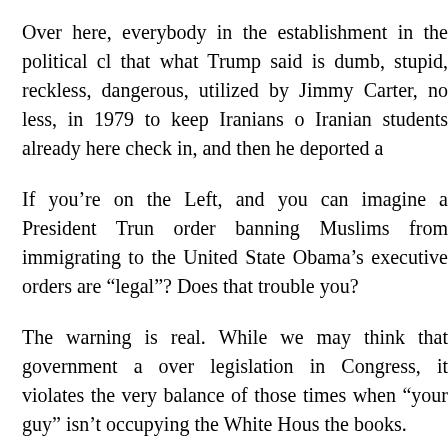Over here, everybody in the establishment in the political cl that what Trump said is dumb, stupid, reckless, dangerous, utilized by Jimmy Carter, no less, in 1979 to keep Iranians o Iranian students already here check in, and then he deported a
If you’re on the Left, and you can imagine a President Trun order banning Muslims from immigrating to the United State Obama’s executive orders are “legal”? Does that trouble you?
The warning is real. While we may think that government a over legislation in Congress, it violates the very balance of those times when “your guy” isn’t occupying the White Hous the books.
If we as a society are increasingly willing to toss aside th expediency, then we may as well as give ourselves over to o stand firm against abuses of power, even when it’s what we w